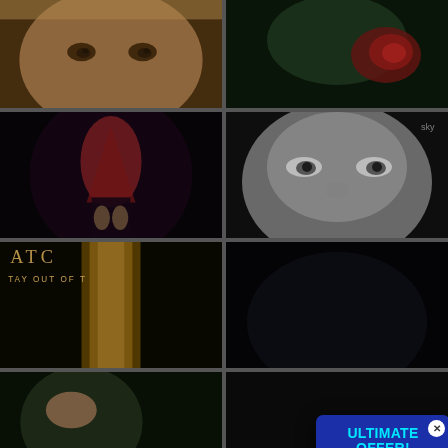[Figure (screenshot): Screenshot of a horror movie streaming website (123Movies or similar) showing a 2x4 grid of horror movie thumbnail images. An advertisement popup overlays the lower-right portion of the screen with text: 'ULTIMATE OFFER! Protect yourself while surfing online and get 123Movies Premium Membership, for the same time period, for FREE!' with a lock icon and close (X) button and an orange upload/scroll button.]
ULTIMATE OFFER!
Protect yourself while surfing online and get 123Movies Premium Membership, for the same time period, for FREE!